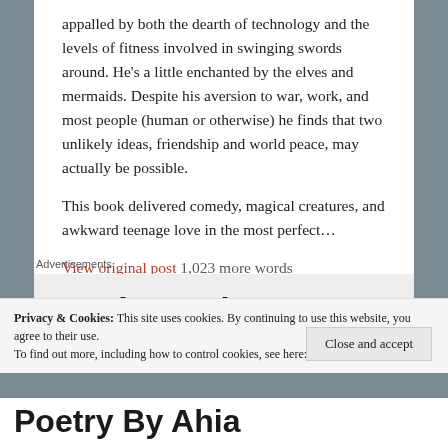appalled by both the dearth of technology and the levels of fitness involved in swinging swords around. He's a little enchanted by the elves and mermaids. Despite his aversion to war, work, and most people (human or otherwise) he finds that two unlikely ideas, friendship and world peace, may actually be possible.
This book delivered comedy, magical creatures, and awkward teenage love in the most perfect…
View original post 1,023 more words
Advertisements
Business in
Privacy & Cookies: This site uses cookies. By continuing to use this website, you agree to their use.
To find out more, including how to control cookies, see here: Cookie Policy
Close and accept
Poetry By Ahia